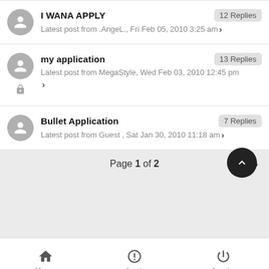I WANA APPLY — 12 Replies — Latest post from .AngeL., Fri Feb 05, 2010 3:25 am
my application — 13 Replies — Latest post from MegaStyle, Wed Feb 03, 2010 12:45 pm
Bullet Application — 7 Replies — Latest post from Guest , Sat Jan 30, 2010 11:18 am
Page 1 of 2